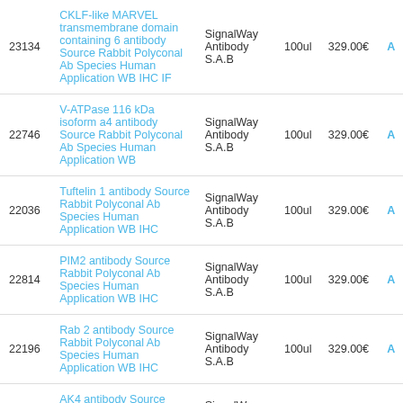| ID | Product Name | Brand | Size | Price |  |
| --- | --- | --- | --- | --- | --- |
| 23134 | CKLF-like MARVEL transmembrane domain containing 6 antibody Source Rabbit Polyconal Ab Species Human Application WB IHC IF | SignalWay Antibody S.A.B | 100ul | 329.00€ | A |
| 22746 | V-ATPase 116 kDa isoform a4 antibody Source Rabbit Polyconal Ab Species Human Application WB | SignalWay Antibody S.A.B | 100ul | 329.00€ | A |
| 22036 | Tuftelin 1 antibody Source Rabbit Polyconal Ab Species Human Application WB IHC | SignalWay Antibody S.A.B | 100ul | 329.00€ | A |
| 22814 | PIM2 antibody Source Rabbit Polyconal Ab Species Human Application WB IHC | SignalWay Antibody S.A.B | 100ul | 329.00€ | A |
| 22196 | Rab 2 antibody Source Rabbit Polyconal Ab Species Human Application WB IHC | SignalWay Antibody S.A.B | 100ul | 329.00€ | A |
| 22962 | AK4 antibody Source Rabbit Polyconal Ab Species Human Application WB IHC IF | SignalWay Antibody S.A.B | 100ul | 329.00€ | A |
| 22357 | beta-glucosidase antibody Source Rabbit Polyconal Ab Species Human Application WB IHC IF | SignalWay Antibody S.A.B | 100ul | 329.00€ | A |
| 22518 | RED antibody Source Rabbit Polyconal Ab Species Human Application WB IF | SignalWay Antibody S.A.B | 100ul | 329.00€ | A |